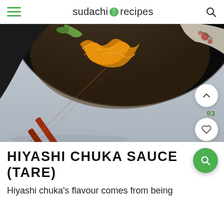sudachi recipes
[Figure (photo): Overhead photo of a black bowl with hiyashi chuka noodles (yellow noodles, green vegetables) on a light gray wooden table with red-brown chopsticks laid diagonally across the foreground.]
HIYASHI CHUKA SAUCE (TARE)
Hiyashi chuka's flavour comes from being